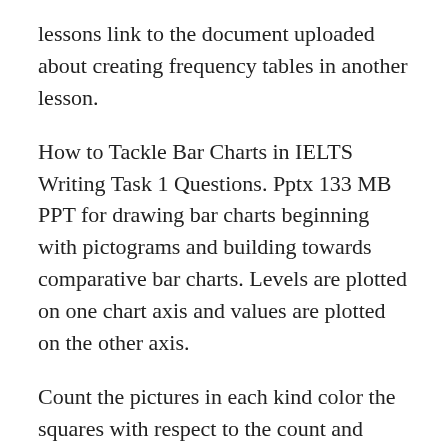lessons link to the document uploaded about creating frequency tables in another lesson.
How to Tackle Bar Charts in IELTS Writing Task 1 Questions. Pptx 133 MB PPT for drawing bar charts beginning with pictograms and building towards comparative bar charts. Levels are plotted on one chart axis and values are plotted on the other axis.
Count the pictures in each kind color the squares with respect to the count and make bar graphs. There are three different scenarios you will encounter in a bar chart task. Have fun